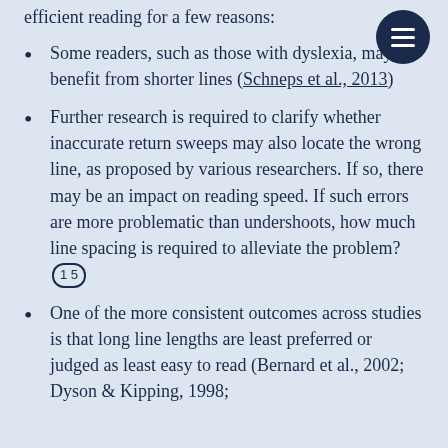efficient reading for a few reasons:
Some readers, such as those with dyslexia, may benefit from shorter lines (Schneps et al., 2013)
Further research is required to clarify whether inaccurate return sweeps may also locate the wrong line, as proposed by various researchers. If so, there may be an impact on reading speed. If such errors are more problematic than undershoots, how much line spacing is required to alleviate the problem? [1 5]
One of the more consistent outcomes across studies is that long line lengths are least preferred or judged as least easy to read (Bernard et al., 2002; Dyson & Kipping, 1998;